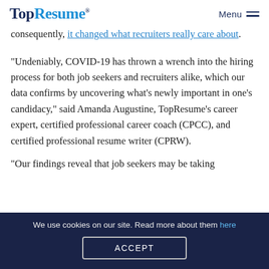TopResume® — Menu
consequently, it changed what recruiters really care about.
“Undeniably, COVID-19 has thrown a wrench into the hiring process for both job seekers and recruiters alike, which our data confirms by uncovering what's newly important in one's candidacy,” said Amanda Augustine, TopResume's career expert, certified professional career coach (CPCC), and certified professional resume writer (CPRW).
“Our findings reveal that job seekers may be taking
We use cookies on our site. Read more about them here
ACCEPT